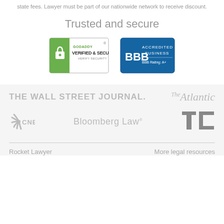state fees. Lawyer must be part of our nationwide network to receive discount.
Trusted and secure
[Figure (logo): GoDaddy Verified & Secured badge with lock icon and 'VERIFY SECURITY' text]
[Figure (logo): BBB Accredited Business badge with BBB Rating: A+]
[Figure (logo): The Wall Street Journal logo in gray]
[Figure (logo): The Atlantic logo in gray italic serif font]
[Figure (logo): CNBC logo with peacock feather icon in gray]
[Figure (logo): Bloomberg Law logo in gray]
[Figure (logo): TechCrunch TC logo in gray]
Rocket Lawyer    More legal resources